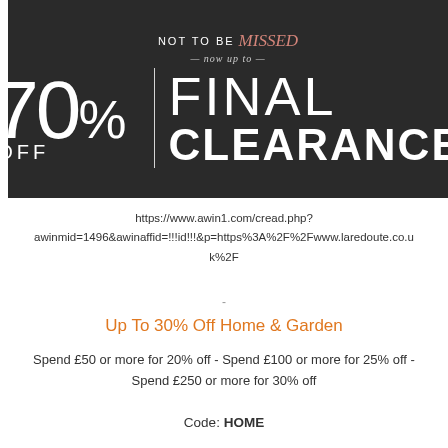[Figure (illustration): Dark banner advertisement showing 'NOT TO BE missed — now up to — 70% OFF | FINAL CLEARANCE' text on a dark charcoal background]
https://www.awin1.com/cread.php?awinmid=1496&awinaffid=!!!id!!!&p=https%3A%2F%2Fwww.laredoute.co.uk%2F
-
Up To 30% Off Home & Garden
Spend £50 or more for 20% off - Spend £100 or more for 25% off - Spend £250 or more for 30% off
Code: HOME